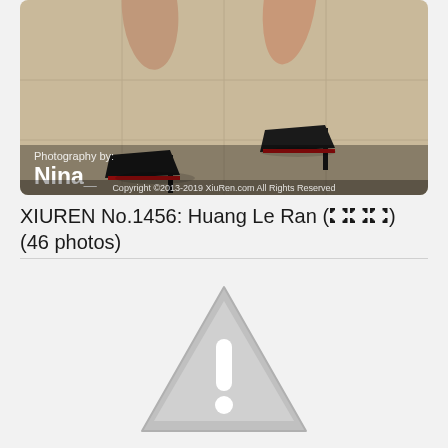[Figure (photo): Cropped photo showing legs of a person wearing black high heel stilettos, walking on a light beige tiled floor. Overlaid text reads 'Photography by: Nina_' and copyright notice 'Copyright ©2013-2019 XiuRen.com All Rights Reserved']
XIUREN No.1456: Huang Le Ran (黄楽然) (46 photos)
[Figure (illustration): Large gray warning triangle icon with an exclamation mark, indicating unavailable or restricted content]